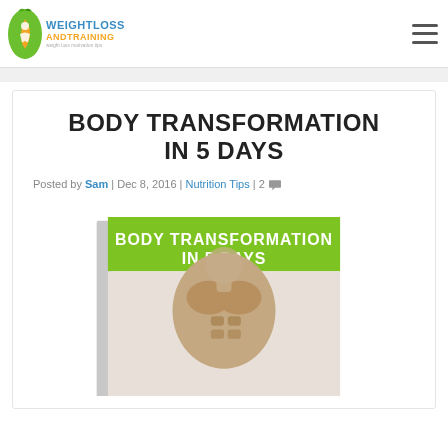Weight Loss and Training logo + navigation
BODY TRANSFORMATION IN 5 DAYS
Posted by Sam | Dec 8, 2016 | Nutrition Tips | 2 [comment icon]
[Figure (photo): Book cover showing 'BODY TRANSFORMATION IN 5 DAYS' with a green banner and a muscular torso image]